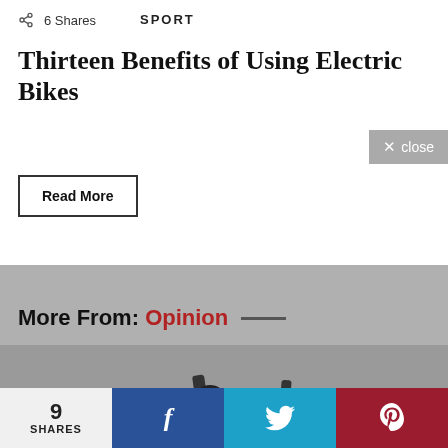6 Shares   SPORT
Thirteen Benefits of Using Electric Bikes
Read More
More From: Opinion —
[Figure (photo): White electric sports car (open-top roadster) plugged in, viewed from the front-left side, on a gray background.]
9 SHARES  f  [twitter bird]  [Pinterest P]